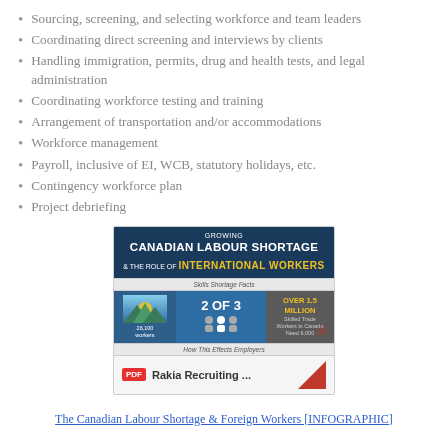Sourcing, screening, and selecting workforce and team leaders
Coordinating direct screening and interviews by clients
Handling immigration, permits, drug and health tests, and legal administration
Coordinating workforce testing and training
Arrangement of transportation and/or accommodations
Workforce management
Payroll, inclusive of EI, WCB, statutory holidays, etc.
Contingency workforce plan
Project debriefing
[Figure (infographic): Infographic titled 'Growing Canadian Labour Shortage & The Role of International Workers' with skills shortage facts including '2 OF 3' and 'OVER 1.5 MILLION' skilled trade workers in Canada, and a PDF link labeled 'Rakia Recruiting ...']
The Canadian Labour Shortage & Foreign Workers [INFOGRAPHIC]